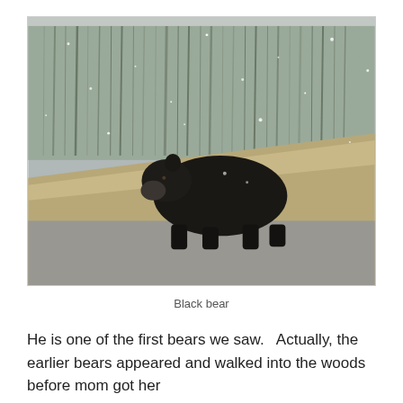[Figure (photo): A black bear standing on a gravel surface near a hillside with dry grass and bare winter trees in the background during light snowfall.]
Black bear
He is one of the first bears we saw.   Actually, the earlier bears appeared and walked into the woods before mom got her